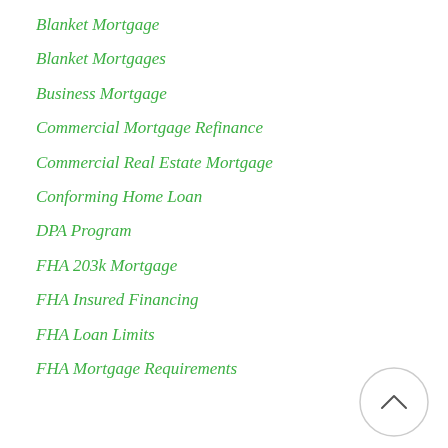Blanket Mortgage
Blanket Mortgages
Business Mortgage
Commercial Mortgage Refinance
Commercial Real Estate Mortgage
Conforming Home Loan
DPA Program
FHA 203k Mortgage
FHA Insured Financing
FHA Loan Limits
FHA Mortgage Requirements